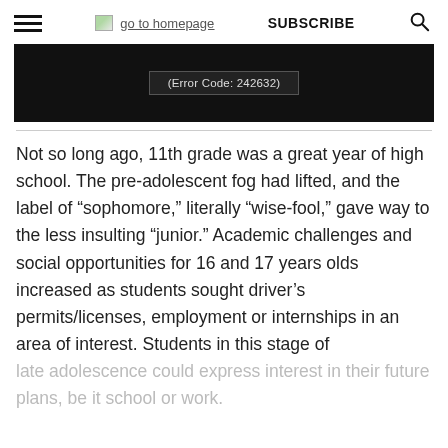go to homepage | SUBSCRIBE
[Figure (screenshot): Black video player area showing error text '(Error Code: 242632)']
Not so long ago, 11th grade was a great year of high school. The pre-adolescent fog had lifted, and the label of “sophomore,” literally “wise-fool,” gave way to the less insulting “junior.” Academic challenges and social opportunities for 16 and 17 years olds increased as students sought driver’s permits/licenses, employment or internships in an area of interest. Students in this stage of late adolescence could express interest in their future plans, be it school or work.